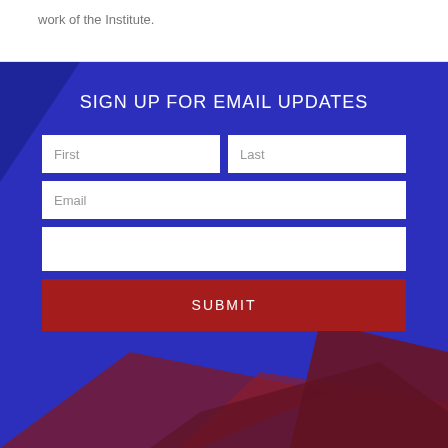work of the Institute.
SIGN UP FOR EMAIL UPDATES
[Figure (screenshot): Email signup form with fields for First name, Last name, Email, a blank field, and a SUBMIT button on a blue geometric background]